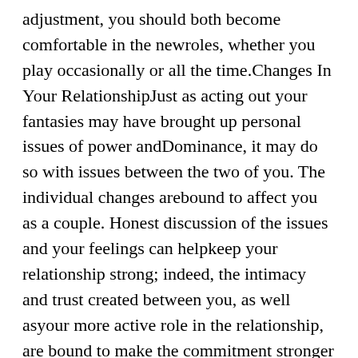adjustment, you should both become comfortable in the newroles, whether you play occasionally or all the time.Changes In Your RelationshipJust as acting out your fantasies may have brought up personal issues of power andDominance, it may do so with issues between the two of you. The individual changes arebound to affect you as a couple. Honest discussion of the issues and your feelings can helpkeep your relationship strong; indeed, the intimacy and trust created between you, as well asyour more active role in the relationship, are bound to make the commitment stronger anddeeper than ever before. What follows are a list of suggestions for dealing with Dominanceissues and a list of the benefits Female Dominance can bring to your relationship.Dealing with Dominance Issues: Some Suggestions-Keep Dominance in Its Place. Female Dominance is a wonderful game, but it has its limits.You and your mate must decide what they are. Some couples use it as an occasional spice afew times a